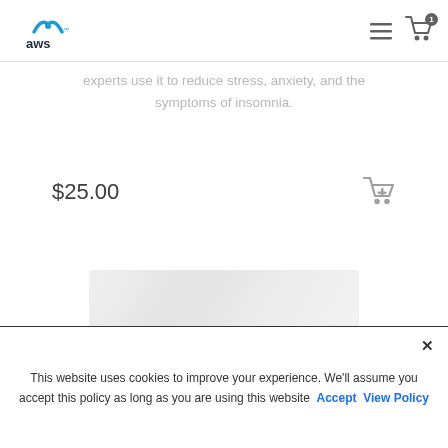AWS website header with logo and navigation icons
experts use it to reduce stress, anxiety, and the symptoms of insomnia.
$25.00
[Figure (photo): Product image with white/grey marble-like texture background]
This website uses cookies to improve your experience. We'll assume you accept this policy as long as you are using this website Accept View Policy